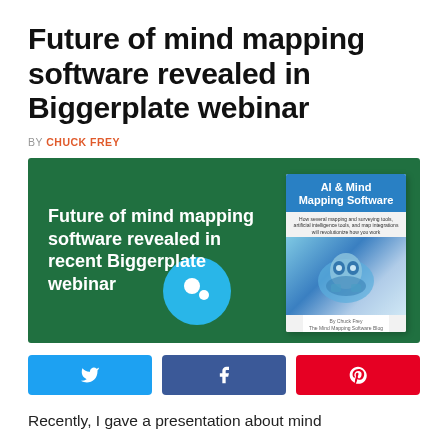Future of mind mapping software revealed in Biggerplate webinar
BY CHUCK FREY
[Figure (illustration): Green banner image with white bold text: 'Future of mind mapping software revealed in recent Biggerplate webinar', a light blue circle with Biggerplate logo dots, and a book cover for 'AI & Mind Mapping Software' by Chuck Frey on the right side.]
[Figure (infographic): Three social share buttons: Twitter (blue), Facebook (blue), Pinterest (red)]
Recently, I gave a presentation about mind